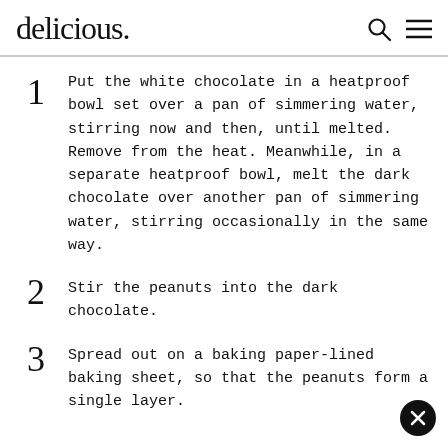delicious.
Put the white chocolate in a heatproof bowl set over a pan of simmering water, stirring now and then, until melted. Remove from the heat. Meanwhile, in a separate heatproof bowl, melt the dark chocolate over another pan of simmering water, stirring occasionally in the same way.
Stir the peanuts into the dark chocolate.
Spread out on a baking paper-lined baking sheet, so that the peanuts form a single layer.